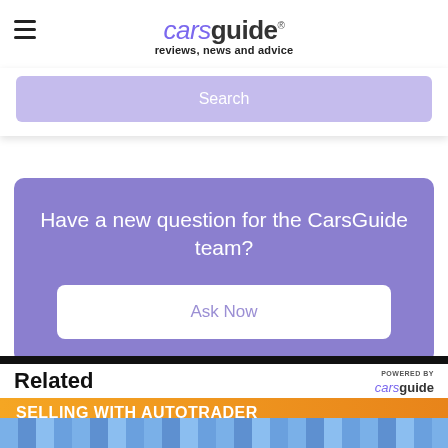carsguide – reviews, news and advice
Search
Have a new question for the CarsGuide team?
Ask Now
Related
POWERED BY carsguide
SELLING WITH AUTOTRADER ISN'T DIFFICULT